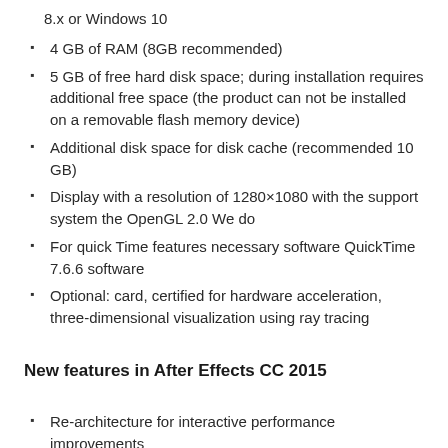8.x or Windows 10
4 GB of RAM (8GB recommended)
5 GB of free hard disk space; during installation requires additional free space (the product can not be installed on a removable flash memory device)
Additional disk space for disk cache (recommended 10 GB)
Display with a resolution of 1280×1080 with the support system the OpenGL 2.0 We do
For quick Time features necessary software QuickTime 7.6.6 software
Optional: card, certified for hardware acceleration, three-dimensional visualization using ray tracing
New features in After Effects CC 2015
Re-architecture for interactive performance improvements
Uninterrupted previews